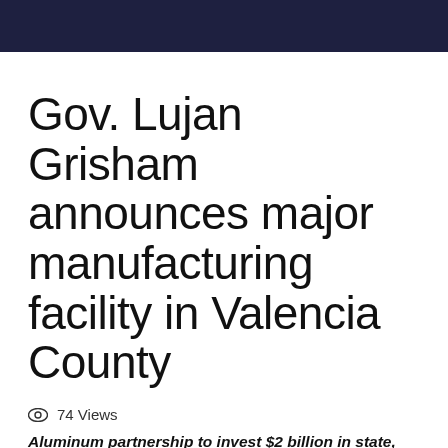Gov. Lujan Grisham announces major manufacturing facility in Valencia County
74 Views
Aluminum partnership to invest $2 billion in state, create 950 jobs